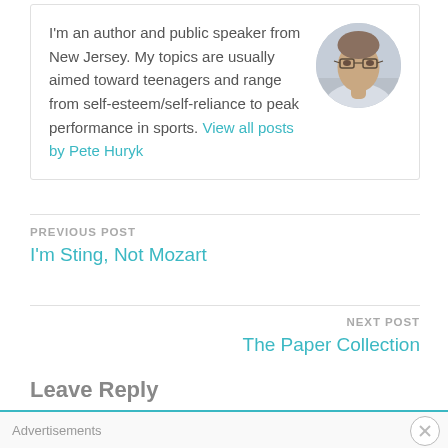I'm an author and public speaker from New Jersey. My topics are usually aimed toward teenagers and range from self-esteem/self-reliance to peak performance in sports. View all posts by Pete Huryk
[Figure (photo): Circular headshot photo of Pete Huryk, a man with glasses]
PREVIOUS POST
I'm Sting, Not Mozart
NEXT POST
The Paper Collection
Leave Reply
Advertisements